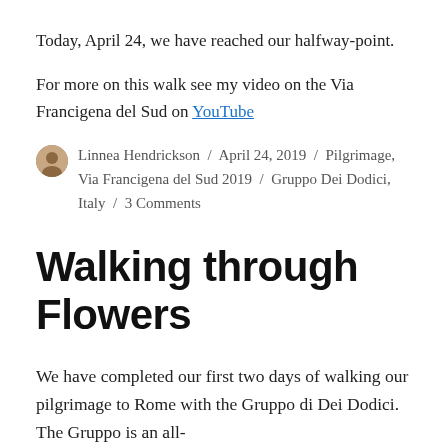Today, April 24, we have reached our halfway-point.
For more on this walk see my video on the Via Francigena del Sud on YouTube
Linnea Hendrickson / April 24, 2019 / Pilgrimage, Via Francigena del Sud 2019 / Gruppo Dei Dodici, Italy / 3 Comments
Walking through Flowers
We have completed our first two days of walking our pilgrimage to Rome with the Gruppo di Dei Dodici. The Gruppo is an all-